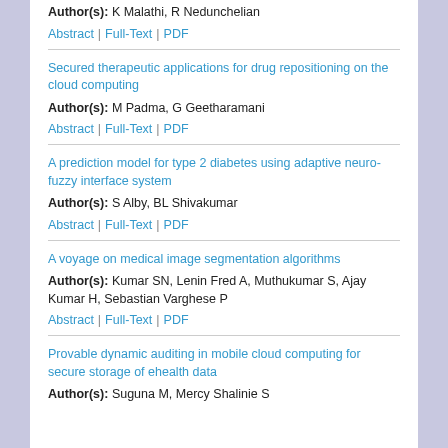Author(s): K Malathi, R Nedunchelian
Abstract | Full-Text | PDF
Secured therapeutic applications for drug repositioning on the cloud computing
Author(s): M Padma, G Geetharamani
Abstract | Full-Text | PDF
A prediction model for type 2 diabetes using adaptive neuro-fuzzy interface system
Author(s): S Alby, BL Shivakumar
Abstract | Full-Text | PDF
A voyage on medical image segmentation algorithms
Author(s): Kumar SN, Lenin Fred A, Muthukumar S, Ajay Kumar H, Sebastian Varghese P
Abstract | Full-Text | PDF
Provable dynamic auditing in mobile cloud computing for secure storage of ehealth data
Author(s): Suguna M, Mercy Shalinie S